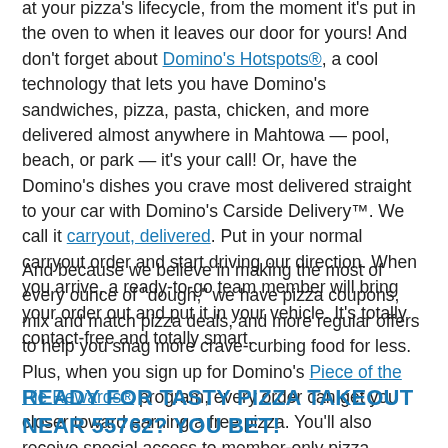at your pizza's lifecycle, from the moment it's put in the oven to when it leaves our door for yours! And don't forget about Domino's Hotspots®, a cool technology that lets you have Domino's sandwiches, pizza, pasta, chicken, and more delivered almost anywhere in Mahtowa — pool, beach, or park — it's your call! Or, have the Domino's dishes you crave most delivered straight to your car with Domino's Carside Delivery™. We call it carryout, delivered. Put in your normal carryout order and start driving our direction. When you arrive, a ready-to-go team member will bring your order out and put it in your vehicle. It's totally contact-free and totally smart.
And because we believe in making the most of every ounce of "dough," we have pizza coupons, mix and match pizza deals, and more regular offers to help you snag more crave-curbing food for less. Plus, when you sign up for Domino's Piece of the Pie Rewards® program, every order can get you closer toward earning a free pizza. You'll also receive special access to member-only pizza promotions and offers!
READY FOR TASTY PIZZA TAKEOUT NEAR 55762? YOU BET!